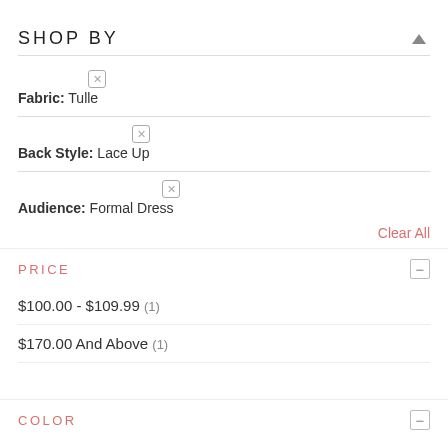SHOP BY
Fabric: Tulle
Back Style: Lace Up
Audience: Formal Dress
Clear All
PRICE
$100.00 - $109.99 (1)
$170.00 And Above (1)
COLOR